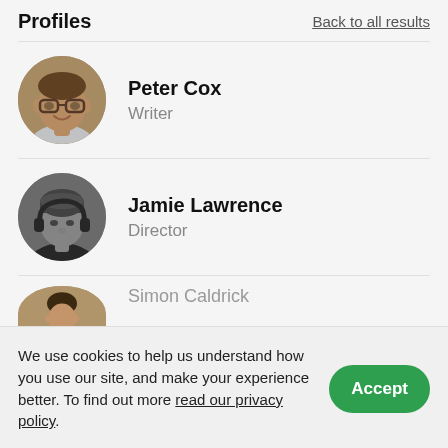Profiles
Back to all results
Peter Cox
Writer
Jamie Lawrence
Director
Simon Caldrick
We use cookies to help us understand how you use our site, and make your experience better. To find out more read our privacy policy.